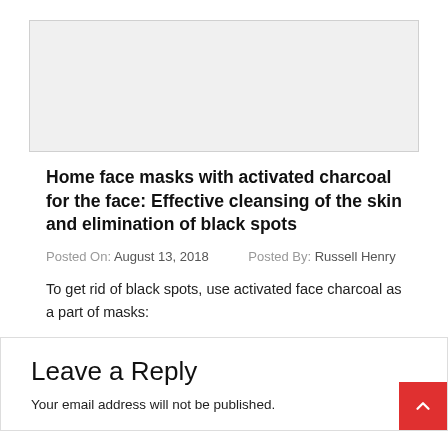[Figure (other): Gray placeholder image area at top of page]
Home face masks with activated charcoal for the face: Effective cleansing of the skin and elimination of black spots
Posted On: August 13, 2018   Posted By: Russell Henry
To get rid of black spots, use activated face charcoal as a part of masks:
Leave a Reply
Your email address will not be published.